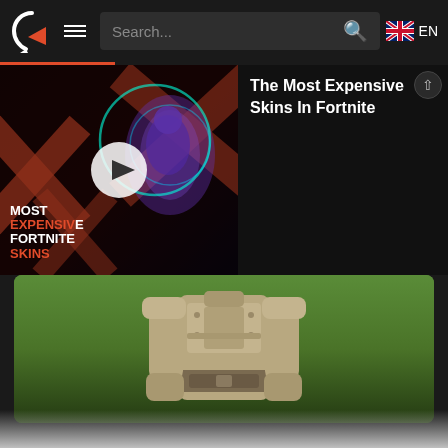Search... EN
[Figure (screenshot): Video thumbnail for 'Most Expensive Fortnite Skins' showing a glowing purple Fortnite character with orange X background graphics and a play button overlay]
The Most Expensive Skins In Fortnite
[Figure (photo): Close-up photo of a Fortnite Plastic Patroller character (tan/stone colored soldier figure) against a green background, showing the torso and hands area]
There are three style options to choose from after purchasing the Plastic Patroller camouflage skin from the Epic Games Item Shop. You can equip the Default green